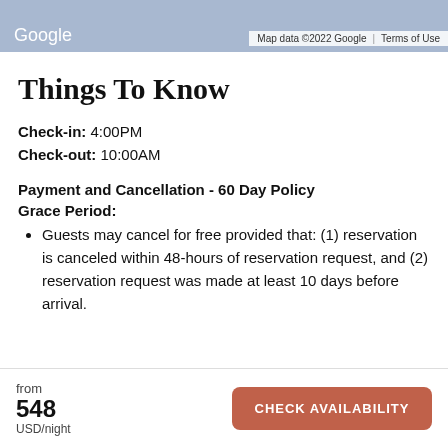Google   Map data ©2022 Google | Terms of Use
Things To Know
Check-in: 4:00PM
Check-out: 10:00AM
Payment and Cancellation - 60 Day Policy
Grace Period:
Guests may cancel for free provided that: (1) reservation is canceled within 48-hours of reservation request, and (2) reservation request was made at least 10 days before arrival.
from 548 USD/night   CHECK AVAILABILITY